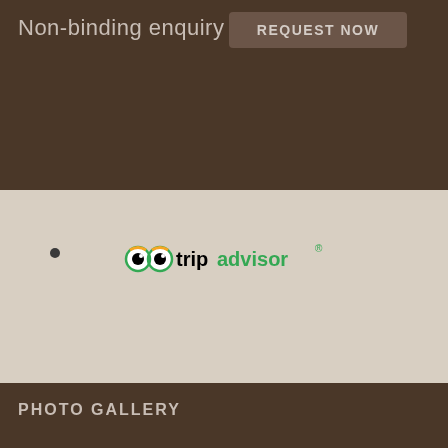Non-binding enquiry
REQUEST NOW
[Figure (logo): TripAdvisor logo with owl eyes icon and text 'tripadvisor' in black and green]
[Figure (screenshot): Dark video thumbnail with a circular play button in the center, showing a nighttime scene]
PHOTO GALLERY